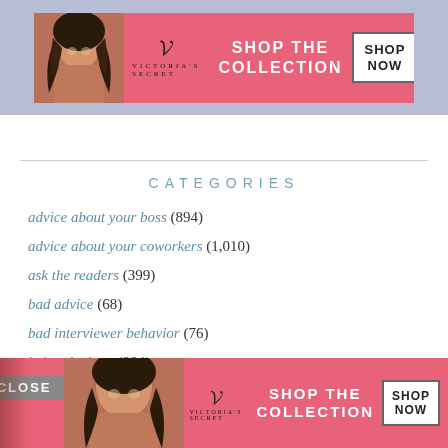[Figure (other): Victoria's Secret advertisement banner with model, logo, 'SHOP THE COLLECTION' text and 'SHOP NOW' button on pink background]
CATEGORIES
advice about your boss (894)
advice about your coworkers (1,010)
ask the readers (399)
bad advice (68)
bad interviewer behavior (76)
being the boss (884)
cover letters (68)
external recruiters (26)
family, friends & significant others (253)
firing (120)
freelan...
Friday...
[Figure (other): Victoria's Secret advertisement banner overlay at bottom with model, logo, 'SHOP THE COLLECTION' text and 'SHOP NOW' button on pink background, with CLOSE button]